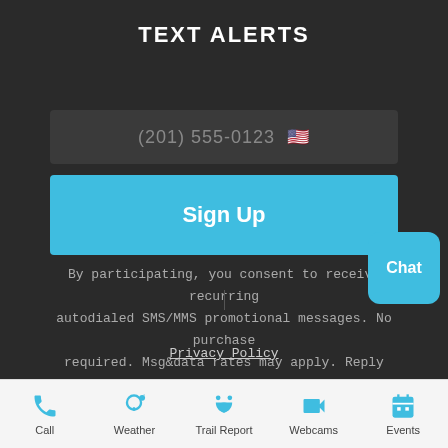TEXT ALERTS
(201) 555-0123 🇺🇸
Sign Up
By participating, you consent to receive recurring autodialed SMS/MMS promotional messages. No purchase required. Msg&data rates may apply. Reply HELP for help, STOP to end.
Privacy Policy
Chat
Call  Weather  Trail Report  Webcams  Events